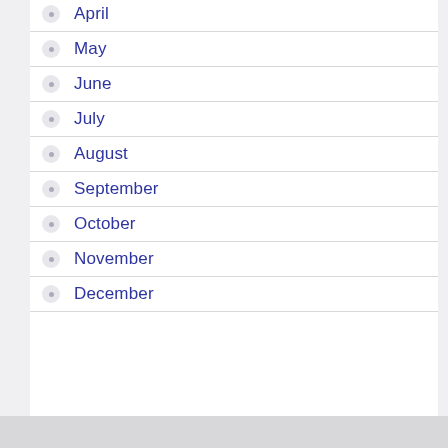April
May
June
July
August
September
October
November
December